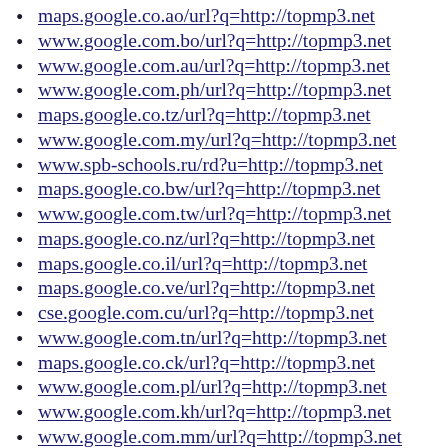maps.google.co.ao/url?q=http://topmp3.net
www.google.com.bo/url?q=http://topmp3.net
www.google.com.au/url?q=http://topmp3.net
www.google.com.ph/url?q=http://topmp3.net
maps.google.co.tz/url?q=http://topmp3.net
www.google.com.my/url?q=http://topmp3.net
www.spb-schools.ru/rd?u=http://topmp3.net
maps.google.co.bw/url?q=http://topmp3.net
www.google.com.tw/url?q=http://topmp3.net
maps.google.co.nz/url?q=http://topmp3.net
maps.google.co.il/url?q=http://topmp3.net
maps.google.co.ve/url?q=http://topmp3.net
cse.google.com.cu/url?q=http://topmp3.net
www.google.com.tn/url?q=http://topmp3.net
maps.google.co.ck/url?q=http://topmp3.net
www.google.com.pl/url?q=http://topmp3.net
www.google.com.kh/url?q=http://topmp3.net
www.google.com.mm/url?q=http://topmp3.net
www.google.com.uy/url?q=http://topmp3.net